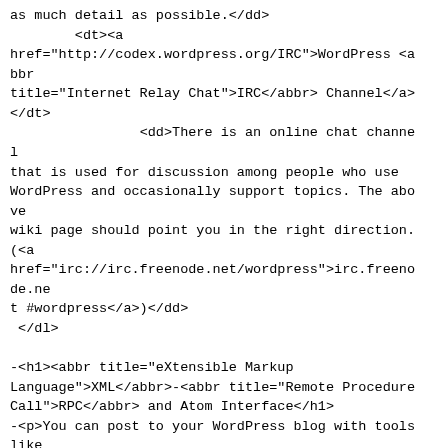as much detail as possible.</dd>
        <dt><a
href="http://codex.wordpress.org/IRC">WordPress <abbr
title="Internet Relay Chat">IRC</abbr> Channel</a></dt>
                <dd>There is an online chat channel
that is used for discussion among people who use
WordPress and occasionally support topics. The above
wiki page should point you in the right direction. (<a
href="irc://irc.freenode.net/wordpress">irc.freenode.ne
t #wordpress</a>)</dd>
 </dl>

-<h1><abbr title="eXtensible Markup
Language">XML</abbr>-<abbr title="Remote Procedure
Call">RPC</abbr> and Atom Interface</h1>
-<p>You can post to your WordPress blog with tools like
<a href="http://download.live.com/writer">Windows Live
Writer</a>, <a
href="http://illuminex.com/ecto/">Ecto</a>, <a
href="http://bloggar.com/">w.bloggar</a>, <a
href="http://radio.userland.com/">Radio Userland</a>
(which means you can use Radio's email-to-blog
feature), <a
href="http://www.newzcrawler.com/">NewzCrawler</a>, and
other tools that support the blogging <abbr
title="application programming interface">API</abbr>s!
:) You can read more about <a
href="http://codex.wordpress.org/XML-RPC_Support">
<abbr>XML</abbr>-<abbr>RPC</abbr> support on the
Codex</a>.</p>